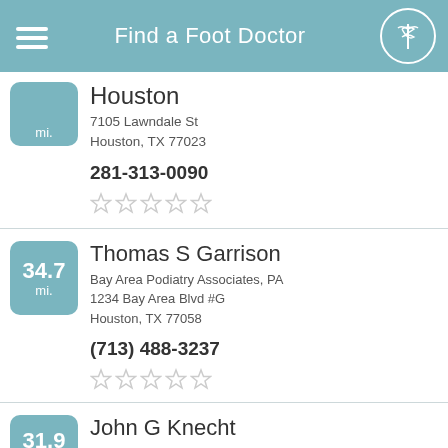Find a Foot Doctor
Houston
7105 Lawndale St
Houston, TX 77023
281-313-0090
34.7 mi.
Thomas S Garrison
Bay Area Podiatry Associates, PA
1234 Bay Area Blvd #G
Houston, TX 77058
(713) 488-3237
31.9
John G Knecht
909 FM 517 E #A